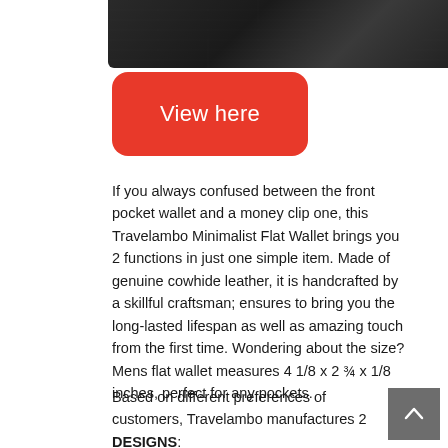[Figure (photo): Partial view of a dark black leather wallet product image at the top of the page]
[Figure (other): Red rounded rectangle button with white text 'View here']
If you always confused between the front pocket wallet and a money clip one, this Travelambo Minimalist Flat Wallet brings you 2 functions in just one simple item. Made of genuine cowhide leather, it is handcrafted by a skillful craftsman; ensures to bring you the long-lasted lifespan as well as amazing touch from the first time. Wondering about the size? Mens flat wallet measures 4 1/8 x 2 ¾ x 1/8 inches, perfect for any pockets.
Based on different preferences of customers, Travelambo manufactures 2 DESIGNS: